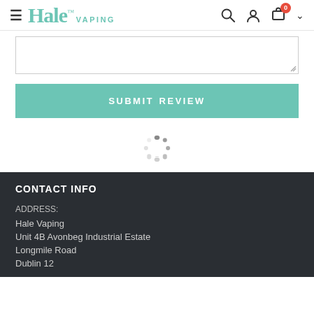Hale VAPING
[Figure (screenshot): Textarea input field with resize handle in bottom-right corner]
[Figure (other): SUBMIT REVIEW button in teal/green color]
[Figure (other): Loading spinner dots in circular arrangement]
CONTACT INFO
ADDRESS:
Hale Vaping
Unit 4B Avonbeg Industrial Estate
Longmile Road
Dublin 12